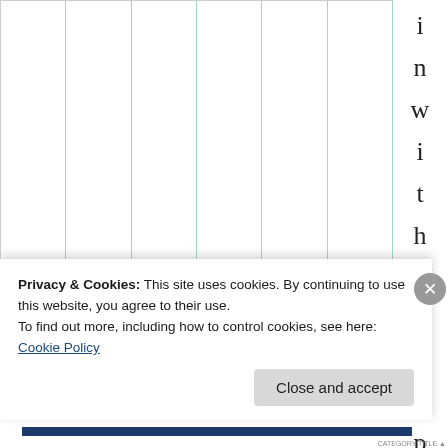[Figure (other): Table or chart with vertical column lines (teal/green borders) on white background, part of a larger document page. The table columns are empty/white with thin green vertical dividers.]
in with Word p
Privacy & Cookies: This site uses cookies. By continuing to use this website, you agree to their use. To find out more, including how to control cookies, see here: Cookie Policy
Close and accept